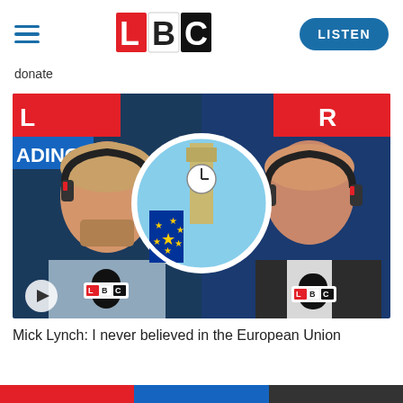[Figure (logo): LBC radio network logo with hamburger menu icon and LISTEN button in header]
donate
[Figure (photo): LBC radio show screenshot: two men wearing headphones at microphones labeled LBC, with a circular inset showing Big Ben and EU flag. Play button overlay in bottom left.]
Mick Lynch: I never believed in the European Union